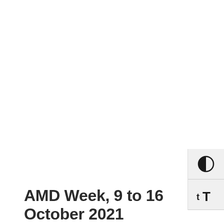[Figure (screenshot): UI toolbar buttons showing a contrast toggle icon (half-filled circle) and a text size toggle icon (tT), positioned on the right side of the page]
AMD Week, 9 to 16 October 2021